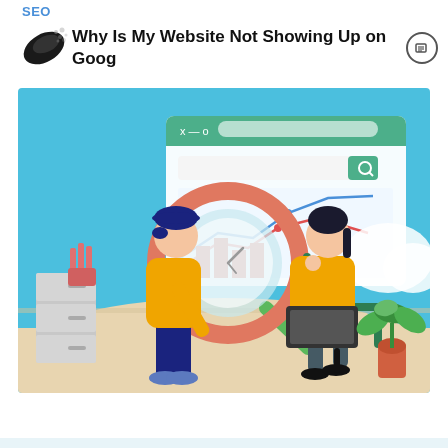SEO
Why Is My Website Not Showing Up on Google?
[Figure (illustration): Flat vector illustration showing two people at a desk analyzing website analytics. A man in a yellow sweater and navy pants holds a large magnifying glass over a browser window displaying line and bar charts. A woman in a yellow top sits in a green chair with a laptop. Background shows a filing cabinet, plant, and a browser window with a search bar and green search button. Light blue background.]